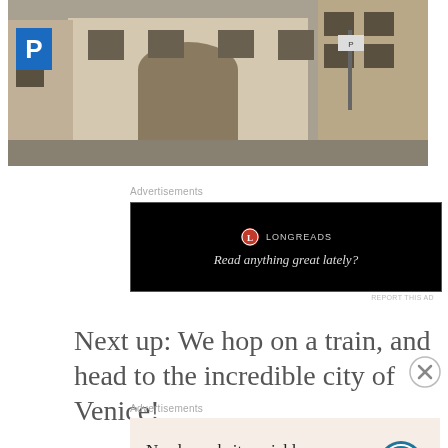[Figure (photo): Street-level photo of an Italian city building facade with arched windows, a parking sign (P) visible on the left, and urban storefronts. Multiple buildings visible with a narrow street.]
Advertisements
[Figure (other): Longreads advertisement banner with black background. Logo: red circle with white L. Text: LONGREADS — Read anything great lately?]
REPORT THIS AD
Next up: We hop on a train, and head to the incredible city of Venice!
Advertisements
[Figure (other): WordPress advertisement on a beige/tan background. Text: Need a website quickly – and on a budget? WordPress logo on the right.]